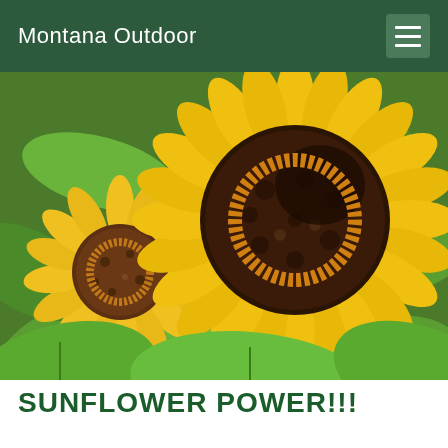Montana Outdoor
[Figure (photo): Close-up photograph of two sunflowers with bright yellow petals and dark brown centers, surrounded by green leaves. The larger sunflower is prominent in the foreground on the right, while a smaller one is visible to the left.]
SUNFLOWER POWER!!!